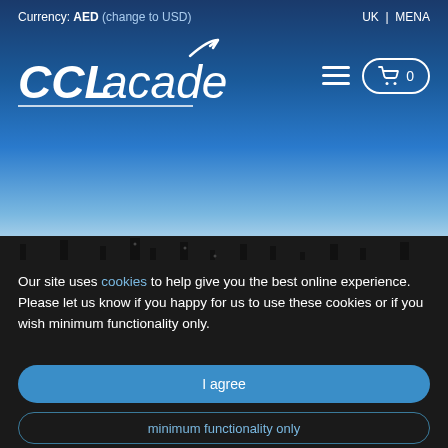Currency: AED (change to USD)   UK | MENA
[Figure (logo): CCL Academy logo with white italic text and upward arrow swoosh on blue gradient background]
Our site uses cookies to help give you the best online experience. Please let us know if you happy for us to use these cookies or if you wish minimum functionality only.
I agree
minimum functionality only